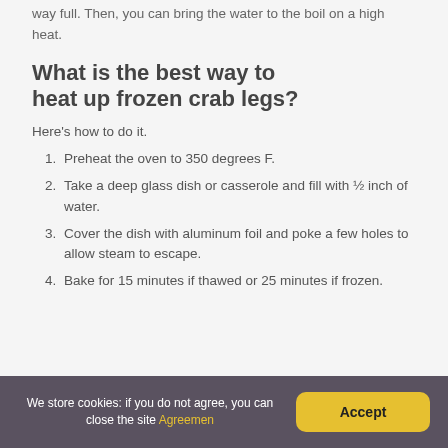way full. Then, you can bring the water to the boil on a high heat.
What is the best way to heat up frozen crab legs?
Here's how to do it.
1. Preheat the oven to 350 degrees F.
2. Take a deep glass dish or casserole and fill with ½ inch of water.
3. Cover the dish with aluminum foil and poke a few holes to allow steam to escape.
4. Bake for 15 minutes if thawed or 25 minutes if frozen.
We store cookies: if you do not agree, you can close the site Agreement | Accept